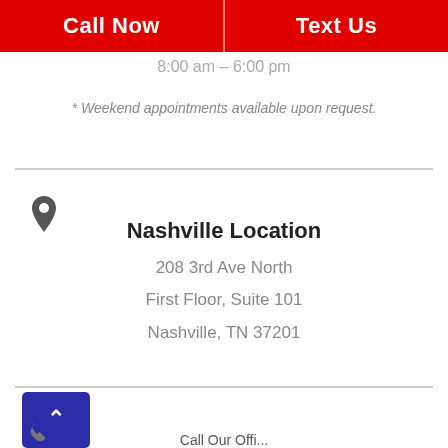Call Now | Text Us
8:00 am – 6:00 pm
* Weekend appointments available upon request.
[Figure (illustration): Map pin / location marker icon]
Nashville Location
208 3rd Ave North
First Floor, Suite 101
Nashville, TN 37201
[Figure (illustration): Blue back-to-top button with upward caret arrow]
Call Our Offi...